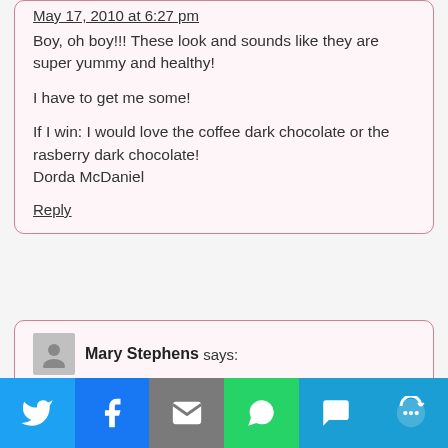May 17, 2010 at 6:27 pm
Boy, oh boy!!! These look and sounds like they are super yummy and healthy!

I have to get me some!

If I win: I would love the coffee dark chocolate or the rasberry dark chocolate!
Dorda McDaniel
Reply
Mary Stephens says:
May 25, 2010 at 3:02 pm